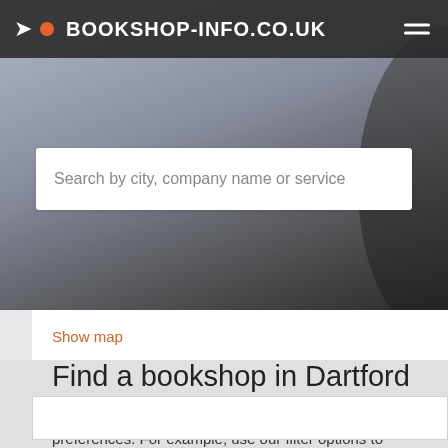BOOKSHOP-INFO.CO.UK
Search by city, company name or service
Show map
Find a bookshop in Dartford
Find the best bookshop in Dartford based on your preferences. For example, use our filter options to search for online orders, online reservations or online catalog. In our Terms and Conditions you will find more information about how our search results are generated.
Filters